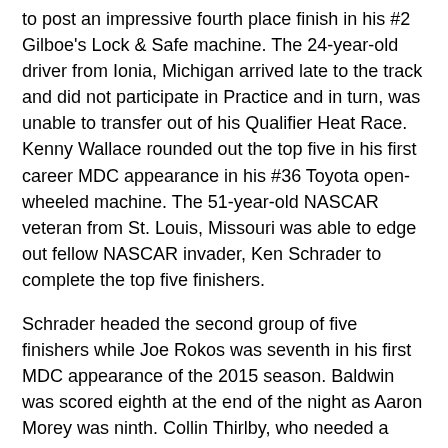to post an impressive fourth place finish in his #2 Gilboe's Lock & Safe machine. The 24-year-old driver from Ionia, Michigan arrived late to the track and did not participate in Practice and in turn, was unable to transfer out of his Qualifier Heat Race. Kenny Wallace rounded out the top five in his first career MDC appearance in his #36 Toyota open-wheeled machine. The 51-year-old NASCAR veteran from St. Louis, Missouri was able to edge out fellow NASCAR invader, Ken Schrader to complete the top five finishers.
Schrader headed the second group of five finishers while Joe Rokos was seventh in his first MDC appearance of the 2015 season. Baldwin was scored eighth at the end of the night as Aaron Morey was ninth. Collin Thirlby, who needed a MDC Provisional to get into the Inaugural Merritt Summer Showdown, would earn the QuickCar Racing Products Hard-Charger Award with his 22nd to 10th place showing.
Earlier in the evening in the Howe Racing Enterprises Qualifier Heat Races, Rokos, Mielke, Wallace and Baldwin took the wins